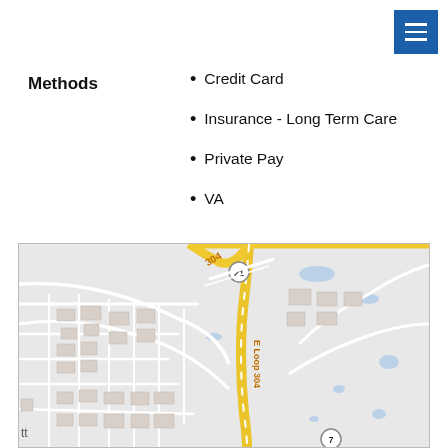[Figure (other): Blue hamburger menu button in top right corner]
Methods
Credit Card
Insurance - Long Term Care
Private Pay
VA
[Figure (map): Street map showing E Loop 304 road, route 21 and route 7 intersections, with surrounding streets and area in a small Texas town]